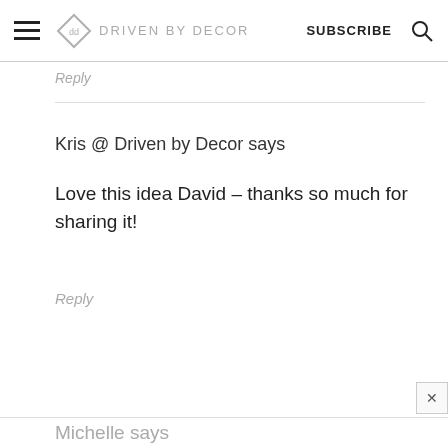DRIVEN BY DECOR  SUBSCRIBE
Reply
Kris @ Driven by Decor says
Love this idea David – thanks so much for sharing it!
Reply
Michelle says